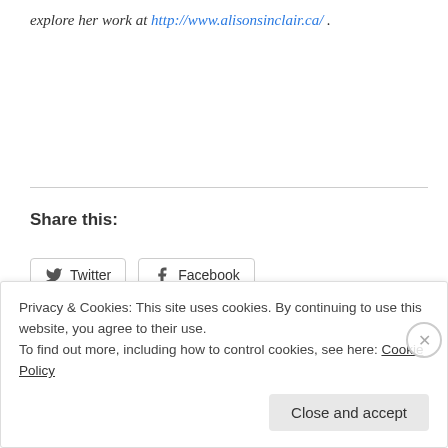explore her work at http://www.alisonsinclair.ca/ .
Share this:
[Figure (screenshot): Twitter and Facebook share buttons]
Loading...
Privacy & Cookies: This site uses cookies. By continuing to use this website, you agree to their use. To find out more, including how to control cookies, see here: Cookie Policy
Close and accept